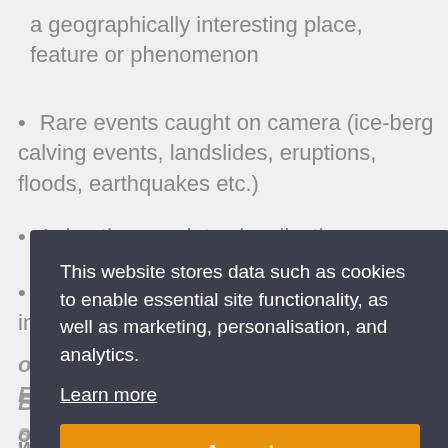a geographically interesting place, feature or phenomenon
Rare events caught on camera (ice-berg calving events, landslides, eruptions, floods, earthquakes etc.)
Animations or data visualisations
360-video/photos for students to immerse themselves in a field location
This website stores data such as cookies to enable essential site functionality, as well as marketing, personalisation, and analytics.
Learn more
Accept
our photo of the month award goes to Edwin Baynes, for a fantastic short video showing the use of drones to produce 3D models for studying waterfalls. Congratulations Edwin, a lovely hab hat is